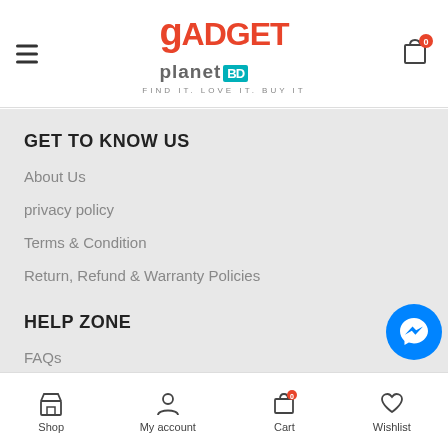Gadget Planet BD — FIND IT. LOVE IT. BUY IT
GET TO KNOW US
About Us
privacy policy
Terms & Condition
Return, Refund & Warranty Policies
HELP ZONE
FAQs
How To Order
Shop  My account  Cart  Wishlist